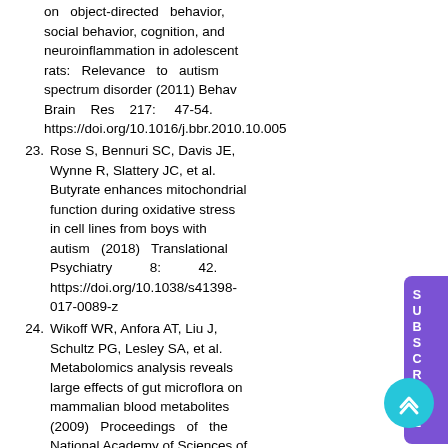on object-directed behavior, social behavior, cognition, and neuroinflammation in adolescent rats: Relevance to autism spectrum disorder (2011) Behav Brain Res 217: 47-54. https://doi.org/10.1016/j.bbr.2010.10.005
23. Rose S, Bennuri SC, Davis JE, Wynne R, Slattery JC, et al. Butyrate enhances mitochondrial function during oxidative stress in cell lines from boys with autism (2018) Translational Psychiatry 8: 42. https://doi.org/10.1038/s41398-017-0089-z
24. Wikoff WR, Anfora AT, Liu J, Schultz PG, Lesley SA, et al. Metabolomics analysis reveals large effects of gut microflora on mammalian blood metabolites (2009) Proceedings of the National Academy of Sciences of the United States of America, USA 106: 3698-3703. https://doi.org/10.1073/pnas.0812874106
25. Parthasarathy A, Cross RJ, ...